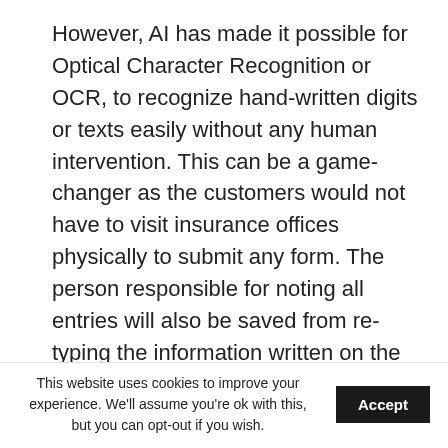However, AI has made it possible for Optical Character Recognition or OCR, to recognize hand-written digits or texts easily without any human intervention. This can be a game-changer as the customers would not have to visit insurance offices physically to submit any form. The person responsible for noting all entries will also be saved from re-typing the information written on the form into the database. The OCR system will automatically recognize what the customer has written, convert it into machine language, and store the entries automatically. This increased speed can lead to 80% cost savings for individual processes.
This website uses cookies to improve your experience. We'll assume you're ok with this, but you can opt-out if you wish. Accept